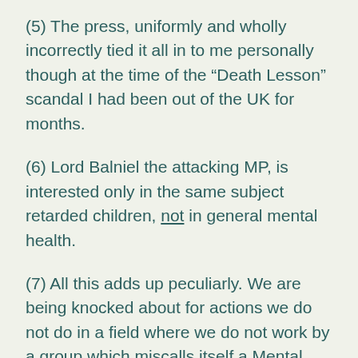(5) The press, uniformly and wholly incorrectly tied it all in to me personally though at the time of the “Death Lesson” scandal I had been out of the UK for months.
(6) Lord Balniel the attacking MP, is interested only in the same subject retarded children, not in general mental health.
(7) All this adds up peculiarly. We are being knocked about for actions we do not do in a field where we do not work by a group which miscalls itself a Mental Health Association whereas it is really only a retarded children activity.